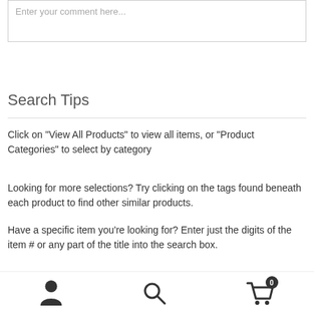Enter your comment here...
Search Tips
Click on "View All Products" to view all items, or "Product Categories" to select by category
Looking for more selections? Try clicking on the tags found beneath each product to find other similar products.
Have a specific item you're looking for? Enter just the digits of the item # or any part of the title into the search box.
user icon | search icon | cart icon with badge 0